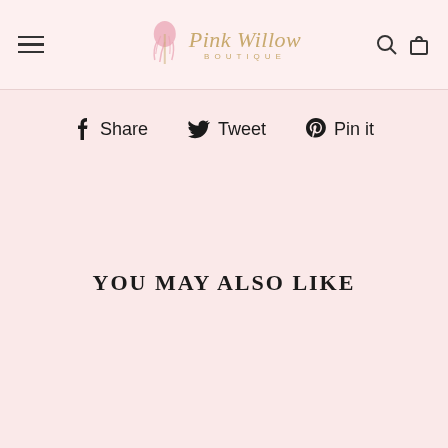Pink Willow Boutique
Share  Tweet  Pin it
YOU MAY ALSO LIKE